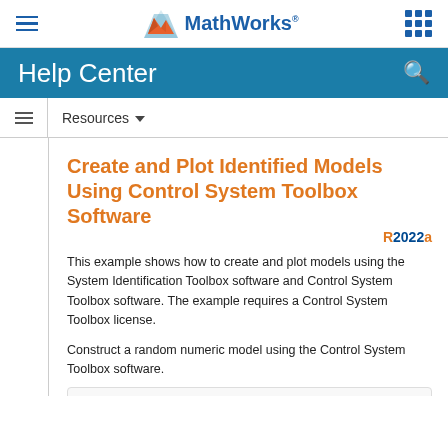MathWorks Help Center
Resources
Create and Plot Identified Models Using Control System Toolbox Software
R2022a
This example shows how to create and plot models using the System Identification Toolbox software and Control System Toolbox software. The example requires a Control System Toolbox license.
Construct a random numeric model using the Control System Toolbox software.